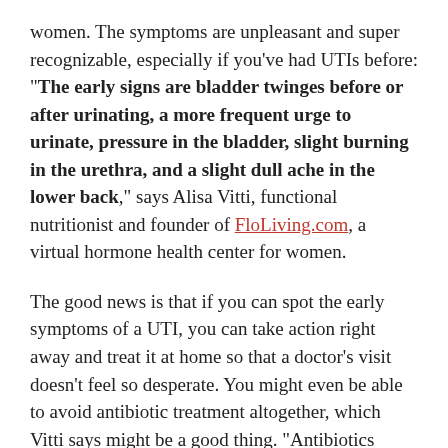women. The symptoms are unpleasant and super recognizable, especially if you've had UTIs before: "The early signs are bladder twinges before or after urinating, a more frequent urge to urinate, pressure in the bladder, slight burning in the urethra, and a slight dull ache in the lower back," says Alisa Vitti, functional nutritionist and founder of FloLiving.com, a virtual hormone health center for women.
The good news is that if you can spot the early symptoms of a UTI, you can take action right away and treat it at home so that a doctor's visit doesn't feel so desperate. You might even be able to avoid antibiotic treatment altogether, which Vitti says might be a good thing. "Antibiotics become essential when a UTI spreads to the kidneys. At that time it's necessary treatment," she says.